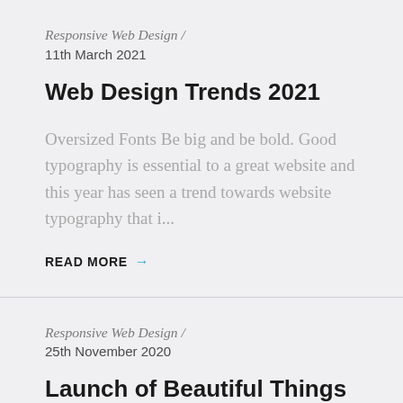Responsive Web Design /
11th March 2021
Web Design Trends 2021
Oversized Fonts Be big and be bold. Good typography is essential to a great website and this year has seen a trend towards website typography that i...
READ MORE →
Responsive Web Design /
25th November 2020
Launch of Beautiful Things